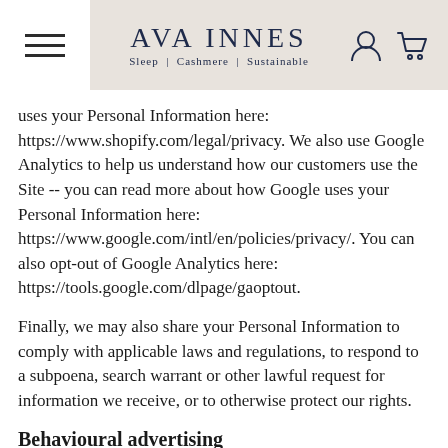AVA INNES Sleep | Cashmere | Sustainable
uses your Personal Information here: https://www.shopify.com/legal/privacy. We also use Google Analytics to help us understand how our customers use the Site -- you can read more about how Google uses your Personal Information here: https://www.google.com/intl/en/policies/privacy/. You can also opt-out of Google Analytics here: https://tools.google.com/dlpage/gaoptout.
Finally, we may also share your Personal Information to comply with applicable laws and regulations, to respond to a subpoena, search warrant or other lawful request for information we receive, or to otherwise protect our rights.
Behavioural advertising